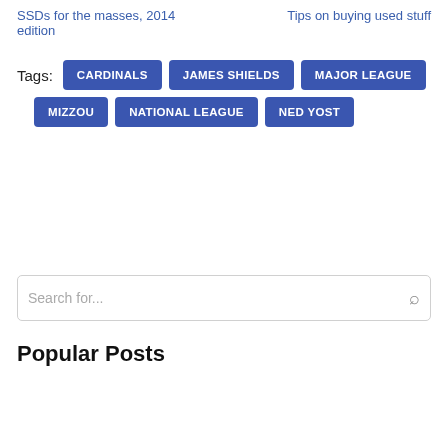SSDs for the masses, 2014 edition
Tips on buying used stuff
Tags: CARDINALS  JAMES SHIELDS  MAJOR LEAGUE  MIZZOU  NATIONAL LEAGUE  NED YOST
Search for...
Popular Posts